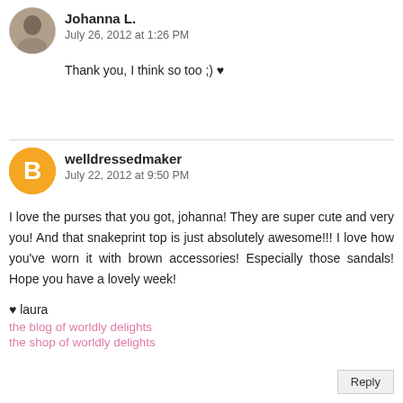Johanna L.
July 26, 2012 at 1:26 PM
Thank you, I think so too ;) ♥
welldressedmaker
July 22, 2012 at 9:50 PM
I love the purses that you got, johanna! They are super cute and very you! And that snakeprint top is just absolutely awesome!!! I love how you've worn it with brown accessories! Especially those sandals! Hope you have a lovely week!
♥ laura
the blog of worldly delights
the shop of worldly delights